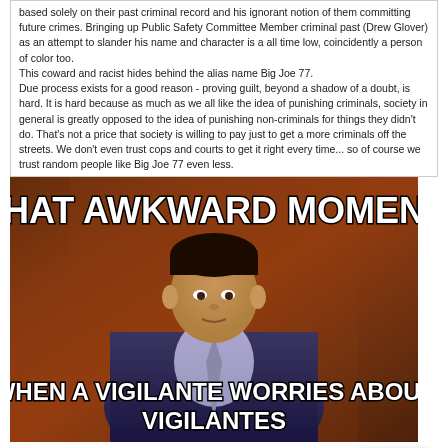based solely on their past criminal record and his ignorant notion of them committing future crimes. Bringing up Public Safety Committee Member criminal past (Drew Glover) as an attempt to slander his name and character is a all time low, coincidently a person of color too.
This coward and racist hides behind the alias name Big Joe 77.
Due process exists for a good reason - proving guilt, beyond a shadow of a doubt, is hard. It is hard because as much as we all like the idea of punishing criminals, society in general is greatly opposed to the idea of punishing non-criminals for things they didn't do. That's not a price that society is willing to pay just to get a more criminals off the streets. We don't even trust cops and courts to get it right every time... so of course we trust random people like Big Joe 77 even less.
[Figure (photo): Meme image with white Impact-font text overlay on a photo of a man in a suit. Top text: 'THAT AWKWARD MOMENT'. Bottom text: 'WHEN A VIGILANTE WORRIES ABOUT VIGILANTES'.]
original image (769x1013)
"This is what racism and dehumanization look like in SC County"